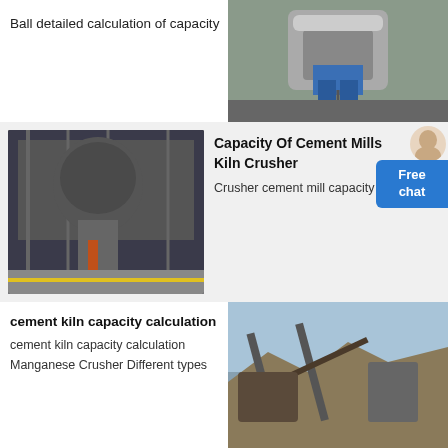Ball detailed calculation of capacity
[Figure (photo): Industrial ball mill or crusher machine, gray metal, blue components, inside factory]
[Figure (photo): Large industrial mill/kiln equipment inside factory with steel structure]
Capacity Of Cement Mills Kiln Crusher
Crusher cement mill capacity
cement kiln capacity calculation
cement kiln capacity calculation
Manganese Crusher Different types
[Figure (photo): Outdoor quarry/mining crusher equipment with conveyor belts and rocky terrain]